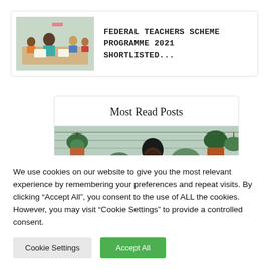[Figure (photo): Classroom scene with teacher and students at desks]
FEDERAL TEACHERS SCHEME PROGRAMME 2021 SHORTLISTED...
Most Read Posts
[Figure (photo): Young woman with glasses in a greenhouse or garden setting]
We use cookies on our website to give you the most relevant experience by remembering your preferences and repeat visits. By clicking “Accept All”, you consent to the use of ALL the cookies. However, you may visit "Cookie Settings" to provide a controlled consent.
Cookie Settings
Accept All